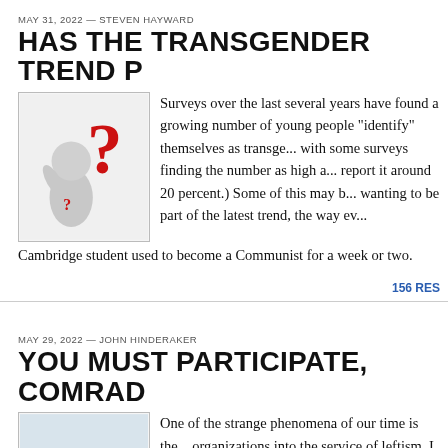MAY 31, 2022 — STEVEN HAYWARD
HAS THE TRANSGENDER TREND P...
[Figure (illustration): Cartoon figure of a small grey person holding a large red question mark]
Surveys over the last several years have found a growing number of young people “identify” themselves as transgender, with some surveys finding the number as high as... report it around 20 percent.) Some of this may b... wanting to be part of the latest trend, the way e... Cambridge student used to become a Communist for a week or two.
156 RES...
MAY 29, 2022 — JOHN HINDERAKER
YOU MUST PARTICIPATE, COMRAD...
[Figure (photo): Soccer player in blue French national team jersey running on a field]
One of the strange phenomena of our time is the... organizations into the service of leftism. I can't... another case: the French Football [Soccer] Fede... LGBTQ+ demonstration by players who were t... jerseys. Most went along, but one–a Senegalese...